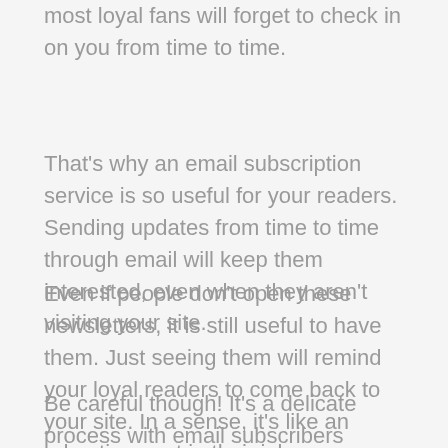most loyal fans will forget to check in on you from time to time.
That's why an email subscription service is so useful for your readers. Sending updates from time to time through email will keep them interested, even when they aren't visiting your site.
Even if people don't open these newsletters, it is still useful to have them. Just seeing them will remind your loyal readers to come back to your site. In a sense, it's like an advertisement in their inbox.
Be careful though! It's a delicate process with email subscribers because people will